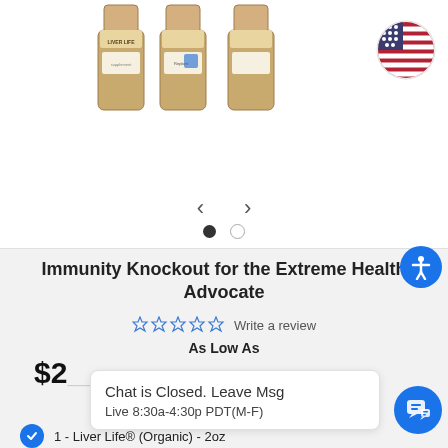[Figure (photo): Three product bottles of Liver Life supplement shown side by side]
[Figure (illustration): Circular US flag icon in the top right corner]
[Figure (illustration): Left and right navigation arrows with two pagination dots below]
[Figure (illustration): Blue circular accessibility icon button on the right side]
Immunity Knockout for the Extreme Health Advocate
☆☆☆☆☆ Write a review
As Low As
$2__ __  to ___
Chat is Closed. Leave Msg
Live 8:30a-4:30p PDT(M-F)
1 - Liver Life® (Organic) - 2oz